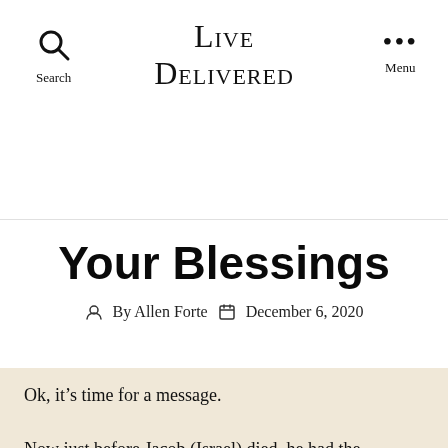Live Delivered
Your Blessings
By Allen Forte  December 6, 2020
Ok, it’s time for a message.

Now just before Jacob (Israel) died, he had the occasion to bless the two sons of Joseph.  The account in scripture is found in Genesis 48:14.  This is what is says “then